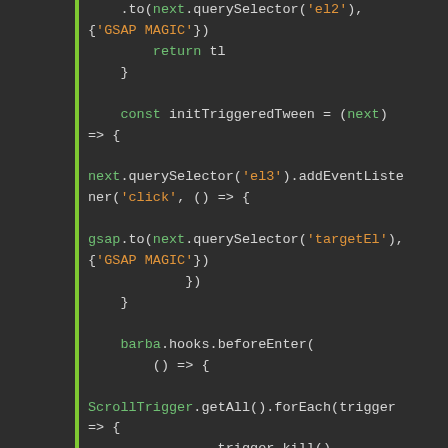[Figure (screenshot): Code editor screenshot showing JavaScript code with GSAP animation and Barba.js page transition hooks. Dark background with syntax highlighting: green for keywords and object names, orange for string literals, light gray for default text. A green vertical bar on the left edge. Code includes .to(), querySelector, addEventListener, gsap.to(), barba.hooks.beforeEnter(), ScrollTrigger.getAll().forEach(), trigger.kill(), and ScrollTrigger.refresh(true).]